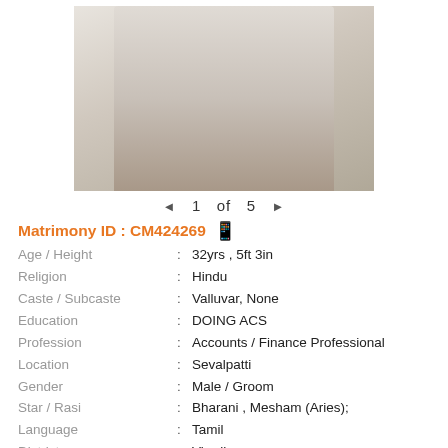[Figure (photo): Photo of a man in a white vest/jacket, selfie-style, with a plant and floral curtain in the background]
◄  1  of  5  ►
Matrimony ID : CM424269 📱
Age / Height : 32yrs , 5ft 3in
Religion : Hindu
Caste / Subcaste : Valluvar, None
Education : DOING ACS
Profession : Accounts / Finance Professional
Location : Sevalpatti
Gender : Male / Groom
Star / Rasi : Bharani , Mesham (Aries);
Language : Tamil
District : Virudhunagar
State : Tamil Nadu
Country : India